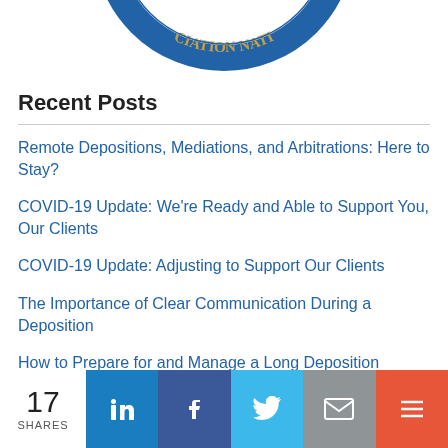[Figure (logo): Circular association/organization logo (blue ring with gold text), shown partially cropped from above — only the bottom arc visible with text reading 'CIATION NATI' (reversed/inverted arc).]
Recent Posts
Remote Depositions, Mediations, and Arbitrations: Here to Stay?
COVID-19 Update: We're Ready and Able to Support You, Our Clients
COVID-19 Update: Adjusting to Support Our Clients
The Importance of Clear Communication During a Deposition
How to Prepare for and Manage a Long Deposition
17 SHARES | LinkedIn | Facebook | Twitter | Email | More